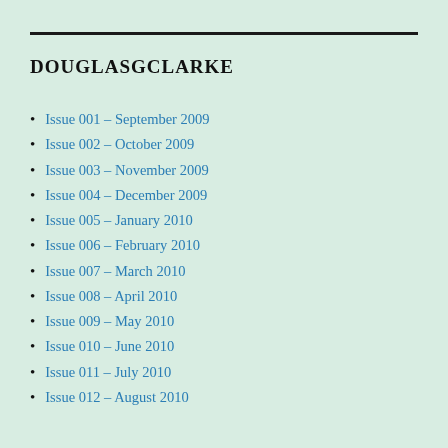DOUGLASGCLARKE
Issue 001 – September 2009
Issue 002 – October 2009
Issue 003 – November 2009
Issue 004 – December 2009
Issue 005 – January 2010
Issue 006 – February 2010
Issue 007 – March 2010
Issue 008 – April 2010
Issue 009 – May 2010
Issue 010 – June 2010
Issue 011 – July 2010
Issue 012 – August 2010